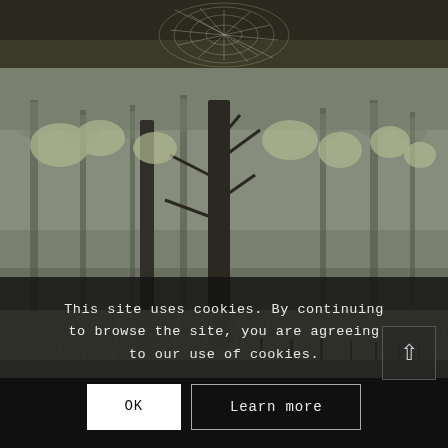[Figure (photo): Nature photography screenshot showing a misty forest scene with bare trees and frosted grass in the lower portion, and a close-up of a spider web with dew in the upper portion. The images appear to be from a website gallery displayed in a dark interface.]
This site uses cookies. By continuing to browse the site, you are agreeing to our use of cookies.
OK
Learn more